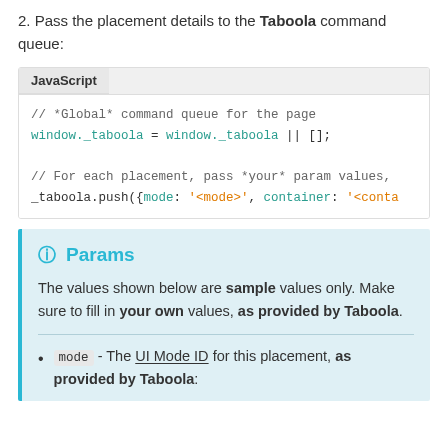2. Pass the placement details to the Taboola command queue:
[Figure (screenshot): JavaScript code block showing: // *Global* command queue for the page
window._taboola = window._taboola || [];

// For each placement, pass *your* param values,
_taboola.push({mode: '<mode>', container: '<conta]
Params
The values shown below are sample values only. Make sure to fill in your own values, as provided by Taboola.
mode - The UI Mode ID for this placement, as provided by Taboola: